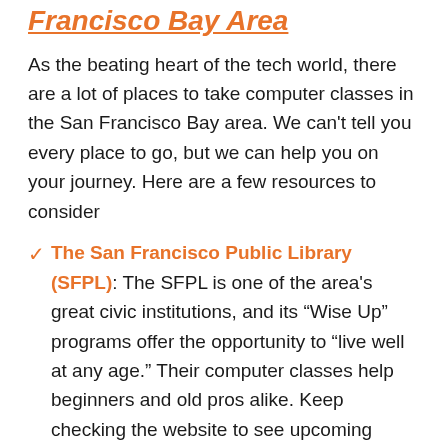Francisco Bay Area
As the beating heart of the tech world, there are a lot of places to take computer classes in the San Francisco Bay area. We can't tell you every place to go, but we can help you on your journey. Here are a few resources to consider
The San Francisco Public Library (SFPL): The SFPL is one of the area's great civic institutions, and its “Wise Up” programs offer the opportunity to “live well at any age.” Their computer classes help beginners and old pros alike. Keep checking the website to see upcoming classes.
ACS Computer Training: The San Jos...